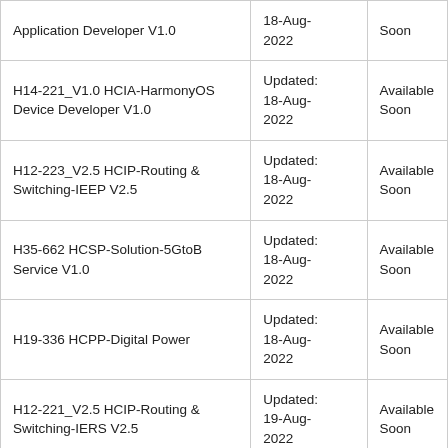| Exam Name | Date | Status |
| --- | --- | --- |
| Application Developer V1.0 | 18-Aug-2022 | Soon |
| H14-221_V1.0 HCIA-HarmonyOS Device Developer V1.0 | Updated: 18-Aug-2022 | Available Soon |
| H12-223_V2.5 HCIP-Routing & Switching-IEEP V2.5 | Updated: 18-Aug-2022 | Available Soon |
| H35-662 HCSP-Solution-5GtoB Service V1.0 | Updated: 18-Aug-2022 | Available Soon |
| H19-336 HCPP-Digital Power | Updated: 18-Aug-2022 | Available Soon |
| H12-221_V2.5 HCIP-Routing & Switching-IERS V2.5 | Updated: 19-Aug-2022 | Available Soon |
|  | Updated: |  |